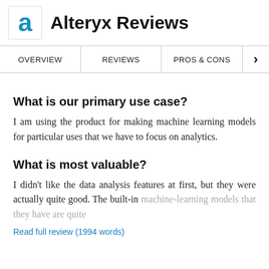Alteryx Reviews
OVERVIEW | REVIEWS | PROS & CONS
What is our primary use case?
I am using the product for making machine learning models for particular uses that we have to focus on analytics.
What is most valuable?
I didn't like the data analysis features at first, but they were actually quite good. The built-in machine-learning models that they have are quite
Read full review (1994 words)